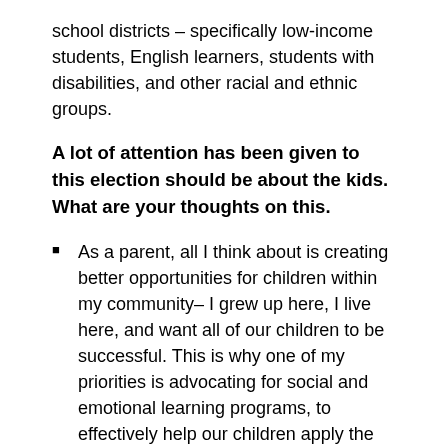school districts – specifically low-income students, English learners, students with disabilities, and other racial and ethnic groups.
A lot of attention has been given to this election should be about the kids. What are your thoughts on this.
As a parent, all I think about is creating better opportunities for children within my community– I grew up here, I live here, and want all of our children to be successful. This is why one of my priorities is advocating for social and emotional learning programs, to effectively help our children apply the knowledge, attitudes, and skills necessary to understand and manage their emotions, set and achieve positive goals, feel and show empathy for others, establish and